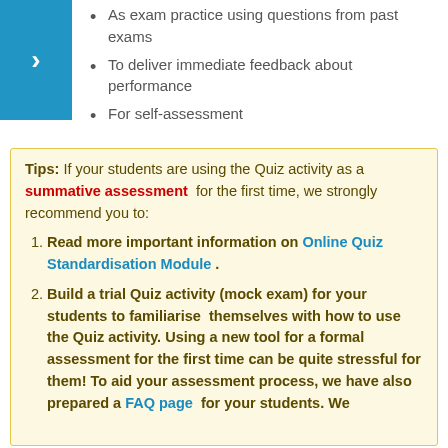As exam practice using questions from past exams
To deliver immediate feedback about performance
For self-assessment
Tips: If your students are using the Quiz activity as a summative assessment for the first time, we strongly recommend you to:
Read more important information on Online Quiz Standardisation Module .
Build a trial Quiz activity (mock exam) for your students to familiarise themselves with how to use the Quiz activity. Using a new tool for a formal assessment for the first time can be quite stressful for them! To aid your assessment process, we have also prepared a FAQ page for your students. We